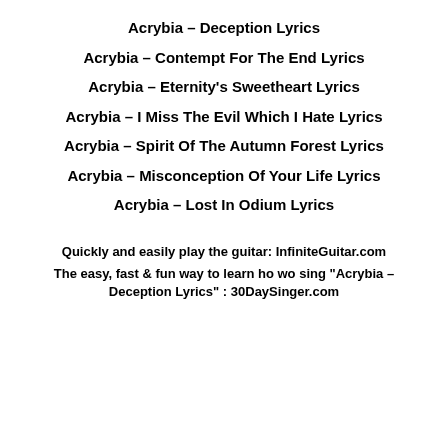Acrybia – Deception Lyrics
Acrybia – Contempt For The End Lyrics
Acrybia – Eternity's Sweetheart Lyrics
Acrybia – I Miss The Evil Which I Hate Lyrics
Acrybia – Spirit Of The Autumn Forest Lyrics
Acrybia – Misconception Of Your Life Lyrics
Acrybia – Lost In Odium Lyrics
Quickly and easily play the guitar: InfiniteGuitar.com
The easy, fast & fun way to learn ho wo sing "Acrybia – Deception Lyrics" : 30DaySinger.com